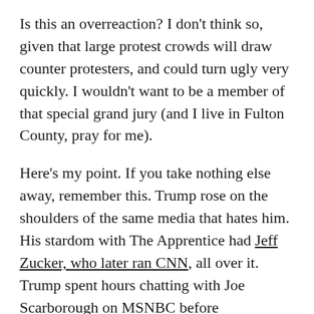Is this an overreaction? I don't think so, given that large protest crowds will draw counter protesters, and could turn ugly very quickly. I wouldn't want to be a member of that special grand jury (and I live in Fulton County, pray for me).
Here's my point. If you take nothing else away, remember this. Trump rose on the shoulders of the same media that hates him. His stardom with The Apprentice had Jeff Zucker, who later ran CNN, all over it. Trump spent hours chatting with Joe Scarborough on MSNBC before Scarborough turned anti-Trump. His events were covered by all media because of stunts like expelling Univision reporter Jorge Ramos from a press conference in 2015.
The media was addicted to Trump rallies, despite his